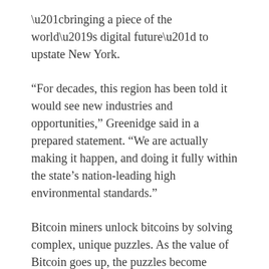“bringing a piece of the world’s digital future” to upstate New York.
“For decades, this region has been told it would see new industries and opportunities,” Greenidge said in a prepared statement. “We are actually making it happen, and doing it fully within the state’s nation-leading high environmental standards.”
Bitcoin miners unlock bitcoins by solving complex, unique puzzles. As the value of Bitcoin goes up, the puzzles become increasingly more difficult, and it requires more computer power to solve them. Estimates on how much energy Bitcoin uses vary.